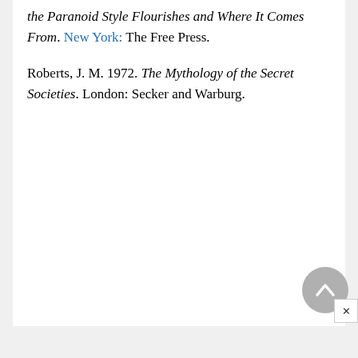the Paranoid Style Flourishes and Where It Comes From. New York: The Free Press.
Roberts, J. M. 1972. The Mythology of the Secret Societies. London: Secker and Warburg.